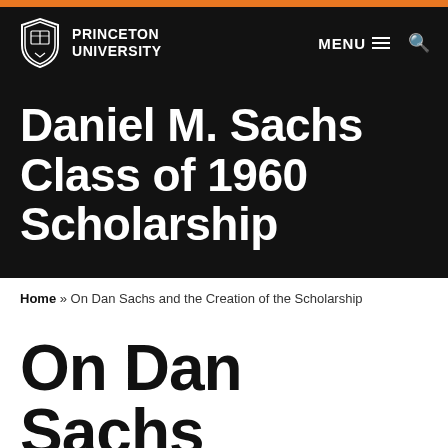[Figure (logo): Princeton University logo with shield and text in white on black navigation bar, with MENU and search icons]
Daniel M. Sachs Class of 1960 Scholarship
Home » On Dan Sachs and the Creation of the Scholarship
On Dan Sachs and the Creation